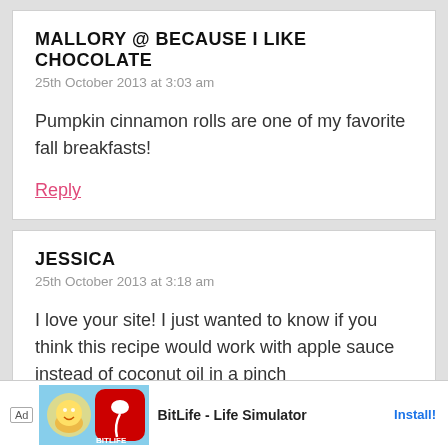MALLORY @ BECAUSE I LIKE CHOCOLATE
25th October 2013 at 3:03 am
Pumpkin cinnamon rolls are one of my favorite fall breakfasts!
Reply
JESSICA
25th October 2013 at 3:18 am
I love your site! I just wanted to know if you think this recipe would work with apple sauce instead of coconut oil in a pinch
Rep...
[Figure (screenshot): Advertisement banner for BitLife - Life Simulator app with Ad label, cartoon character image, app icon, title text, and Install! button]